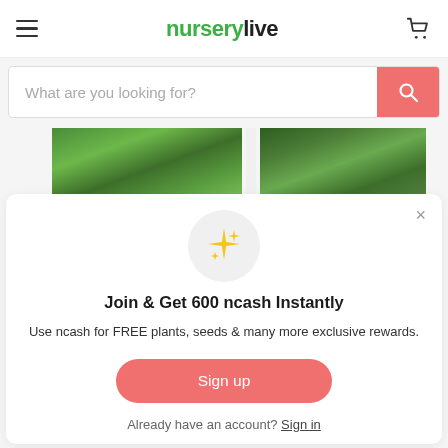nurserylive
What are you looking for?
[Figure (photo): Green plant images strip showing vegetable plants with leaves and stems]
[Figure (illustration): Sparkle/star emoji icon in a light gray circle]
Join & Get 600 ncash Instantly
Use ncash for FREE plants, seeds & many more exclusive rewards.
Sign up
Already have an account? Sign in